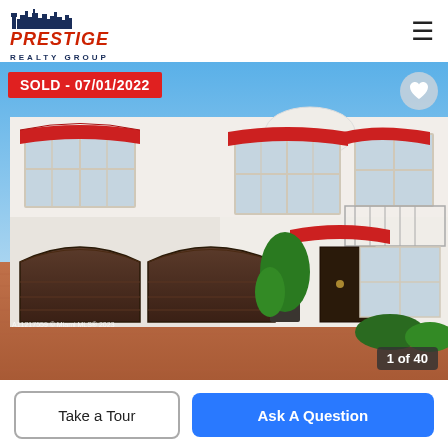[Figure (logo): Prestige Realty Group logo with city skyline silhouette, red and navy blue text]
[Figure (photo): Exterior photo of a two-story white stucco home with red awnings, two arched brown garage doors, and brick paver driveway. SOLD badge dated 07/01/2022 in top left. Heart/favorite icon top right. Photo counter '1 of 40' in bottom right.]
SOLD - 07/01/2022
1 of 40
Take a Tour
Ask A Question